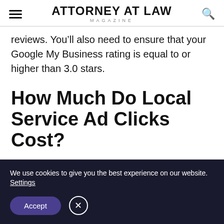ATTORNEY AT LAW MAGAZINE
reviews. You’ll also need to ensure that your Google My Business rating is equal to or higher than 3.0 stars.
How Much Do Local Service Ad Clicks Cost?
Unlike the traditional pay-per-click ads most
We use cookies to give you the best experience on our website. Settings
Accept